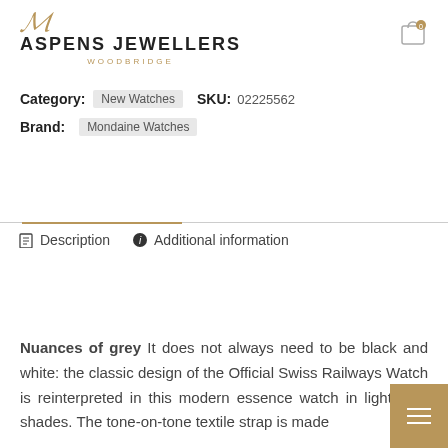[Figure (logo): Aspens Jewellers Woodbridge logo with script letter A in gold and bold uppercase text]
Category: New Watches   SKU: 02225562
Brand: Mondaine Watches
Description   Additional information
Nuances of grey It does not always need to be black and white: the classic design of the Official Swiss Railways Watch is reinterpreted in this modern essence watch in light grey shades. The tone-on-tone textile strap is made